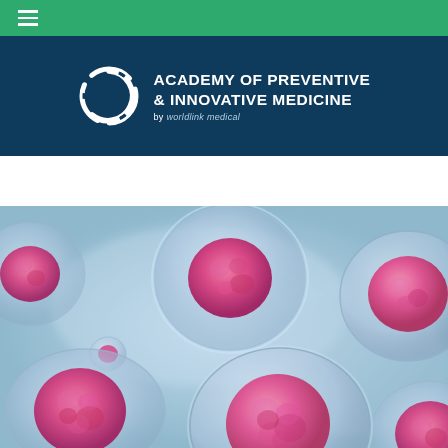Navigation bar with hamburger menu
[Figure (logo): Academy of Preventive & Innovative Medicine logo by worldlink medical, white text and circular arrow icon on dark navy background]
[Figure (photo): 3D rendered medical illustration of cancer cells or stem cells — translucent spherical cells with pink/magenta textured nuclei on a light blue background]